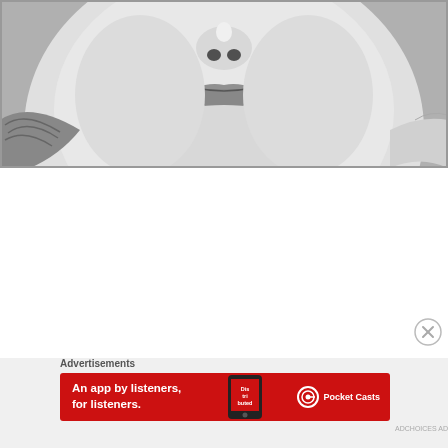[Figure (photo): Close-up black and white photograph of a baby or young child's face, showing the nose, mouth/lips, and chin area. The child appears to be lying down, with a textured collar or clothing visible. A hand is partially visible at the right edge.]
[Figure (other): Close button (circle with X) for dismissing the advertisement]
Advertisements
[Figure (other): Red advertisement banner for Pocket Casts app showing text 'An app by listeners, for listeners.' with Pocket Casts logo and a phone graphic showing 'Dis-tri-buted' on screen]